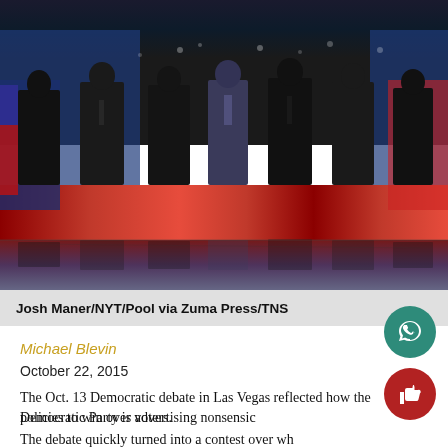[Figure (photo): Group photo of Democratic debate candidates standing on stage at the Oct. 13, 2015 Las Vegas Democratic debate, with a red and blue lit stage backdrop and reflective floor.]
Josh Maner/NYT/Pool via Zuma Press/TNS
Michael Blevin
October 22, 2015
The Oct. 13 Democratic debate in Las Vegas reflected how the Democratic Party is advertising nonsensical policies to win over voters.
The debate quickly turned into a contest over who was the most radically liberal, and, as Marco Rub…